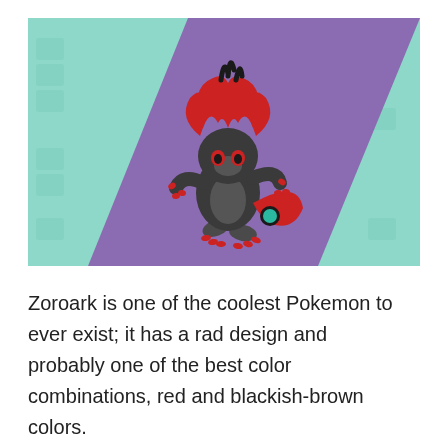[Figure (illustration): Illustration of Zoroark, a Pokemon character with dark gray/black body and large red hair/mane, striking a dynamic pose on a purple diagonal shape against a teal/mint green background. Watermark icons visible in background.]
Zoroark is one of the coolest Pokemon to ever exist; it has a rad design and probably one of the best color combinations, red and blackish-brown colors.